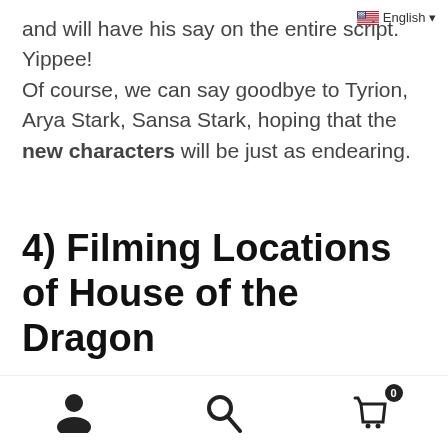English ▾
and will have his say on the entire script. Yippee! Of course, we can say goodbye to Tyrion, Arya Stark, Sansa Stark, hoping that the new characters will be just as endearing.
4) Filming Locations of House of the Dragon
We can't confirm 100% of the shooting locations since for the moment the producers
Navigation icons: user, search, cart (0)